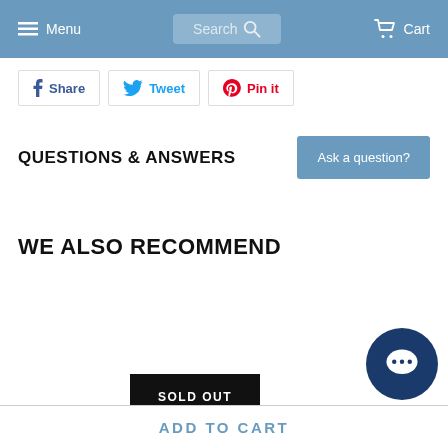Menu  Search  Cart
Share  Tweet  Pin it
QUESTIONS & ANSWERS
Ask a question?
WE ALSO RECOMMEND
SOLD OUT
ADD TO CART